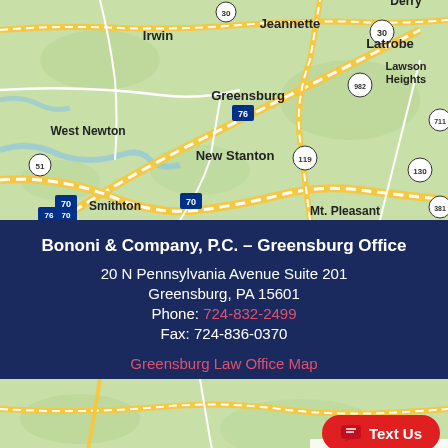[Figure (map): Google Maps view showing Greensburg PA area with surrounding towns including Irwin, Jeannette, Latrobe, Derry, Lawson Heights, New Stanton, West Newton, Smithton, Mt. Pleasant and highway routes 30, 76, 70, 119, 130, 711, 381, 982, 51]
Bononi & Company, P.C. – Greensburg Office
20 N Pennsylvania Avenue Suite 201
Greensburg, PA 15601
Phone: 724-832-2499
Fax: 724-836-0370
Greensburg Law Office Map
[Figure (map): Second Google Maps view showing Blairsville PA area at bottom of page]